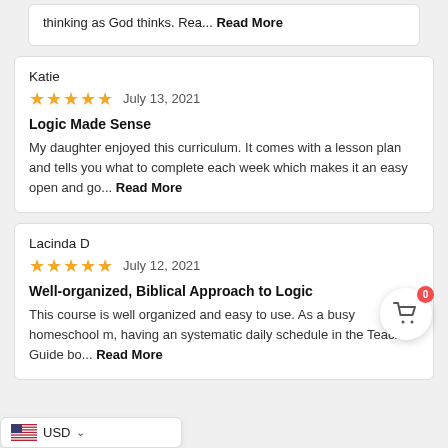thinking as God thinks. Rea... Read More
Katie
★★★★★  July 13, 2021
Logic Made Sense
My daughter enjoyed this curriculum. It comes with a lesson plan and tells you what to complete each week which makes it an easy open and go... Read More
Lacinda D
★★★★★  July 12, 2021
Well-organized, Biblical Approach to Logic
This course is well organized and easy to use. As a busy homeschool mom, having an systematic daily schedule in the Teacher Guide bo... Read More
USD